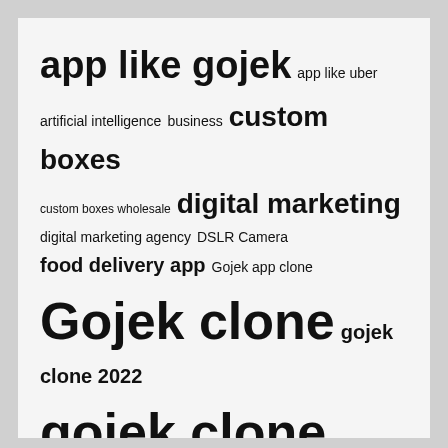[Figure (infographic): Tag cloud with terms of varying font sizes: app like gojek, app like uber, artificial intelligence, business, custom boxes, custom boxes wholesale, digital marketing, digital marketing agency, DSLR Camera, food delivery app, Gojek app clone, Gojek clone, gojek clone 2022, gojek clone app, gojek clone script, Grocery Delivery App, Health Benefits, Healthy Diet, healthy lifestyle, Instagram followers, interior design, junk removal company, Junk Removal Service, Kingx 2022 App, Marketing Strategies]